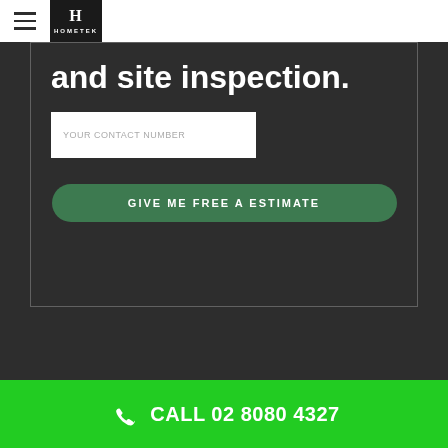HOMETEK
and site inspection.
YOUR CONTACT NUMBER
GIVE ME FREE A ESTIMATE
CALL 02 8080 4327